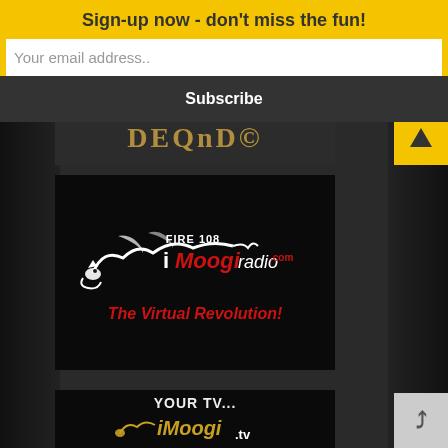Sign-up now - don't miss the fun!
Your email address..
Subscribe
[Figure (logo): Partially visible decorative text banner in dark background]
[Figure (logo): iMoogi Radio logo: FIRE 108 iMoogiradio.com with dragon illustration and tagline 'The Virtual Revolution!']
[Figure (logo): iMoogi TV logo: YOUR TV... iMoogi.tv with dragon illustration, partially visible]